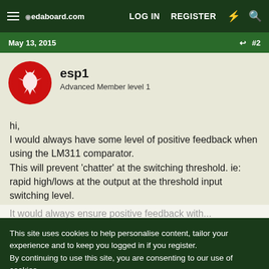edaboard.com  LOG IN  REGISTER
May 13, 2015  #2
esp1
Advanced Member level 1
hi,
I would always have some level of positive feedback when using the LM311 comparator.
This will prevent 'chatter' at the switching threshold. ie: rapid high/lows at the output at the threshold input switching level.
This site uses cookies to help personalise content, tailor your experience and to keep you logged in if you register.
By continuing to use this site, you are consenting to our use of cookies.